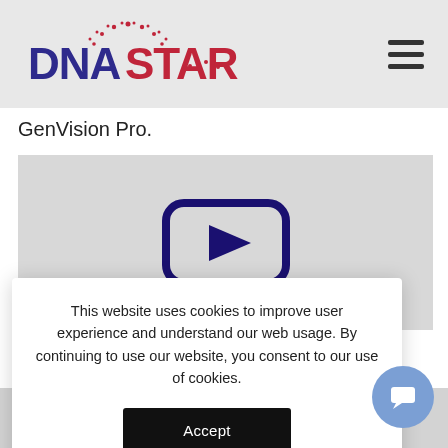DNASTAR
GenVision Pro.
[Figure (screenshot): Video thumbnail with dark navy play button icon (rounded rectangle with triangle) on light gray background]
ArrayStar in
This website uses cookies to improve user experience and understand our web usage. By continuing to use our website, you consent to our use of cookies.
Accept
Watch Video